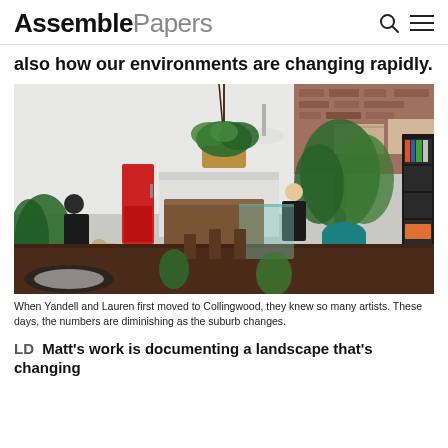Assemble Papers
also how our environments are changing rapidly.
[Figure (photo): Interior of a large warehouse-style live/work space in Collingwood. The space features exposed brick walls, high ceilings with skylights, hanging plants in macrame baskets, large leafy potted plants, a wooden kitchen island/bench, a red refrigerator, bookshelves on the right filled with books and items, and two people — one seated on the left wearing a hat and dark jacket, and one standing/working at the bench wearing a black floral dress. A dog is visible near the seated person.]
When Yandell and Lauren first moved to Collingwood, they knew so many artists. These days, the numbers are diminishing as the suburb changes.
LD  Matt's work is documenting a landscape that's changing